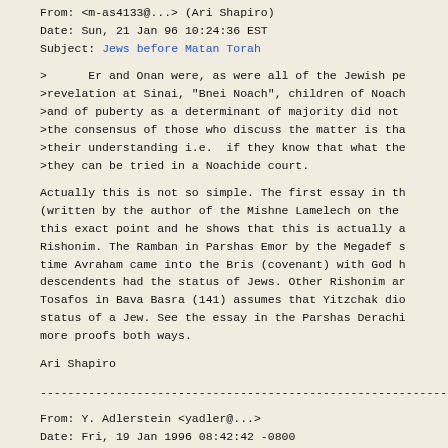From: <m-as4133@...> (Ari Shapiro)
Date: Sun, 21 Jan 96 10:24:36 EST
Subject: Jews before Matan Torah
> Er and Onan were, as were all of the Jewish pe
>revelation at Sinai, "Bnei Noach", children of Noach
>and of puberty as a determinant of majority did not
>the consensus of those who discuss the matter is tha
>their understanding i.e. if they know that what the
>they can be tried in a Noachide court.
Actually this is not so simple. The first essay in th
(written by the author of the Mishne Lamelech on the
this exact point and he shows that this is actually a
Rishonim. The Ramban in Parshas Emor by the Megadef s
time Avraham came into the Bris (covenant) with God h
descendents had the status of Jews. Other Rishonim ar
Tosafos in Bava Basra (141) assumes that Yitzchak dio
status of a Jew. See the essay in the Parshas Derachi
more proofs both ways.
Ari Shapiro
------------------------------------------------------------------------
From: Y. Adlerstein <yadler@...>
Date: Fri, 19 Jan 1996 08:42:42 -0800
Subject: Medical question